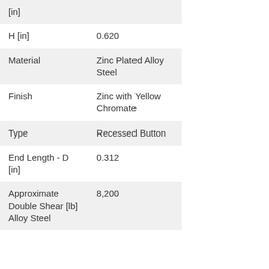| Property | Value |
| --- | --- |
| [in] |  |
| H [in] | 0.620 |
| Material | Zinc Plated Alloy Steel |
| Finish | Zinc with Yellow Chromate |
| Type | Recessed Button |
| End Length - D [in] | 0.312 |
| Approximate Double Shear [lb] Alloy Steel | 8,200 |